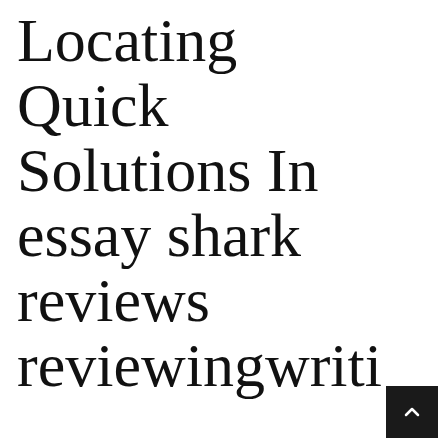Locating Quick Solutions In essay shark reviews reviewingwriti